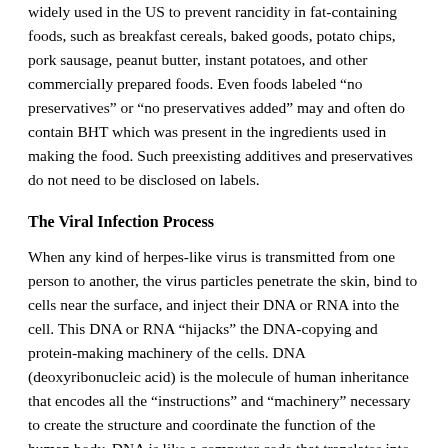widely used in the US to prevent rancidity in fat-containing foods, such as breakfast cereals, baked goods, potato chips, pork sausage, peanut butter, instant potatoes, and other commercially prepared foods. Even foods labeled “no preservatives” or “no preservatives added” may and often do contain BHT which was present in the ingredients used in making the food. Such preexisting additives and preservatives do not need to be disclosed on labels.
The Viral Infection Process
When any kind of herpes-like virus is transmitted from one person to another, the virus particles penetrate the skin, bind to cells near the surface, and inject their DNA or RNA into the cell. This DNA or RNA “hijacks” the DNA-copying and protein-making machinery of the cells. DNA (deoxyribonucleic acid) is the molecule of human inheritance that encodes all the “instructions” and “machinery” necessary to create the structure and coordinate the function of the human body. DNA is like a computer code that translates into words in an encyclopedia. The DNA “words” are called genes, each of which produces a specific protein or enzyme when it is translated. The DNA “volumes” of the encyclopedia are called chromosomes. The human